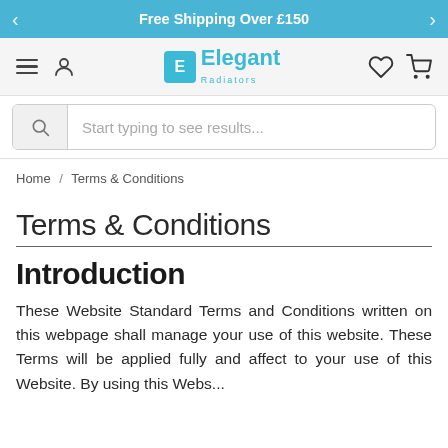Free Shipping Over £150
[Figure (logo): Elegant Radiators logo with navigation icons (hamburger menu, user icon, heart, cart)]
Start typing to see results...
Home / Terms & Conditions
Terms & Conditions
Introduction
These Website Standard Terms and Conditions written on this webpage shall manage your use of this website. These Terms will be applied fully and affect to your use of this Website. By using this Website, you agree to accept all terms and conditions